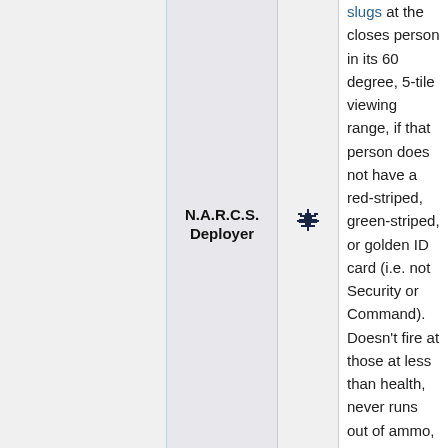N.A.R.C.S. Deployer
[Figure (illustration): Pixel art icon of a small dark blue space-ship or plant-like sprite]
slugs at the closest person in its 60 degree, 5-tile viewing range, if that person does not have a red-striped, green-striped, or golden ID card (i.e. not Security or Command). Doesn't fire at those at less than health, never runs out of ammo, and can be repaired with a welder. It also barks.

To deploy, click on the deployer while